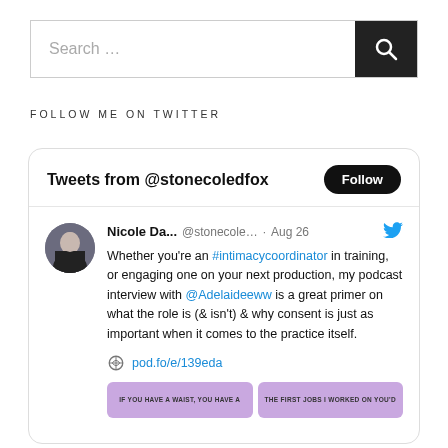[Figure (screenshot): Search bar with text input and black search button with magnifying glass icon]
FOLLOW ME ON TWITTER
[Figure (screenshot): Twitter widget card showing Tweets from @stonecoledfox with a Follow button, and a tweet by Nicole Da... @stonecole... · Aug 26 with Twitter bird icon. Tweet text: Whether you're an #intimacycoordinator in training, or engaging one on your next production, my podcast interview with @Adelaideeww is a great primer on what the role is (& isn't) & why consent is just as important when it comes to the practice itself. Link: pod.fo/e/139eda. Two purple thumbnail images at bottom.]